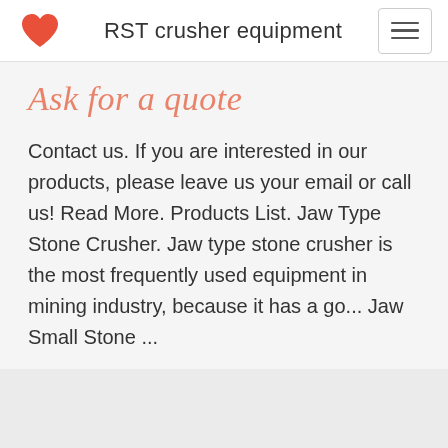RST crusher equipment
Ask for a quote
Contact us. If you are interested in our products, please leave us your email or call us! Read More. Products List. Jaw Type Stone Crusher. Jaw type stone crusher is the most frequently used equipment in mining industry, because it has a go... Jaw Small Stone ...